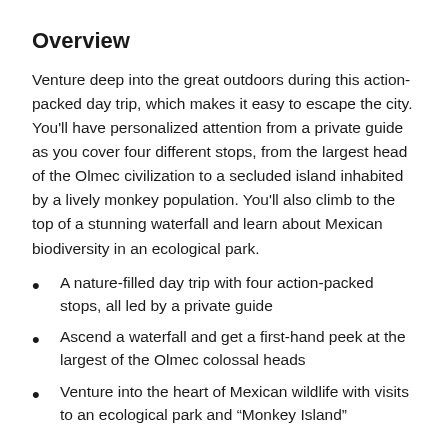Overview
Venture deep into the great outdoors during this action-packed day trip, which makes it easy to escape the city. You'll have personalized attention from a private guide as you cover four different stops, from the largest head of the Olmec civilization to a secluded island inhabited by a lively monkey population. You'll also climb to the top of a stunning waterfall and learn about Mexican biodiversity in an ecological park.
A nature-filled day trip with four action-packed stops, all led by a private guide
Ascend a waterfall and get a first-hand peek at the largest of the Olmec colossal heads
Venture into the heart of Mexican wildlife with visits to an ecological park and “Monkey Island”